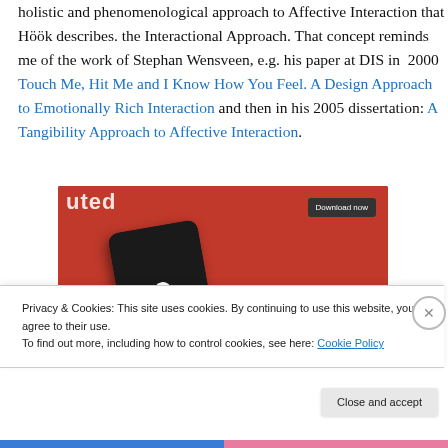holistic and phenomenological approach to Affective Interaction that Höök describes. the Interactional Approach. That concept reminds me of the work of Stephan Wensveen, e.g. his paper at DIS in 2000 Touch Me, Hit Me and I Know How You Feel. A Design Approach to Emotionally Rich Interaction and then in his 2005 dissertation: A Tangibility Approach to Affective Interaction.
[Figure (screenshot): Screenshot of a red-themed mobile app advertisement showing a smartphone with a music player interface and a 'Download now' button overlay.]
Privacy & Cookies: This site uses cookies. By continuing to use this website, you agree to their use.
To find out more, including how to control cookies, see here: Cookie Policy
Close and accept